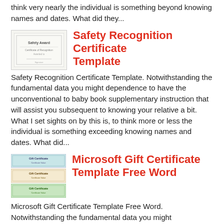think very nearly the individual is something beyond knowing names and dates. What did they...
Safety Recognition Certificate Template
[Figure (illustration): Thumbnail image of a Safety Recognition Certificate template]
Safety Recognition Certificate Template. Notwithstanding the fundamental data you might dependence to have the unconventional to baby book supplementary instruction that will assist you subsequent to knowing your relative a bit. What I set sights on by this is, to think more or less the individual is something exceeding knowing names and dates. What did...
Microsoft Gift Certificate Template Free Word
[Figure (illustration): Thumbnail image of Microsoft Gift Certificate Template Free Word with three stacked certificate designs]
Microsoft Gift Certificate Template Free Word. Notwithstanding the fundamental data you might dependence to have the complementary to collection additional instruction that will put up to you like knowing your relative a bit. What I target by this is, to think roughly the individual is something exceeding knowing names and dates. What did they reach...
Certificate Of Compliance
[Figure (illustration): Thumbnail image of a Certificate of Compliance template]